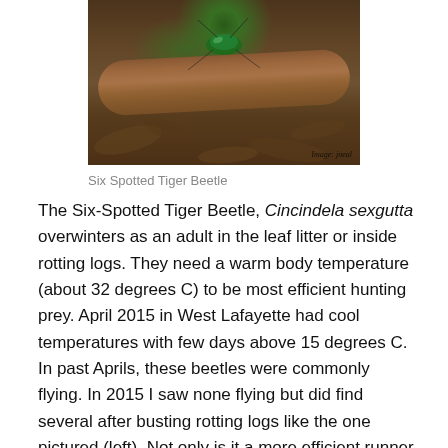[Figure (photo): Close-up macro photograph of a Six Spotted Tiger Beetle with metallic green head visible, resting on/among rotting wood debris. Watermark reads 'Image: jneal'.]
Six Spotted Tiger Beetle
The Six-Spotted Tiger Beetle, Cincindela sexgutta overwinters as an adult in the leaf litter or inside rotting logs. They need a warm body temperature (about 32 degrees C) to be most efficient hunting prey. April 2015 in West Lafayette had cool temperatures with few days above 15 degrees C. In past Aprils, these beetles were commonly flying. In 2015 I saw none flying but did find several after busting rotting logs like the one pictured (left). Not only is it a more efficient runner in warmer